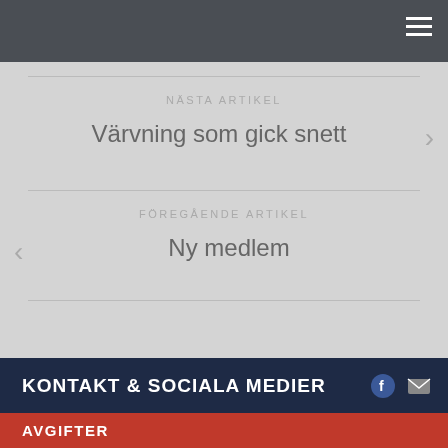Navigation menu (hamburger icon)
NÄSTA ARTIKEL
Värvning som gick snett
FÖREGÅENDE ARTIKEL
Ny medlem
KONTAKT & SOCIALA MEDIER
AVGIFTER
Då var det dags igen. Betala senast 31/8
Bankgiro: 545-0838:
Medlemsavg: 300:-